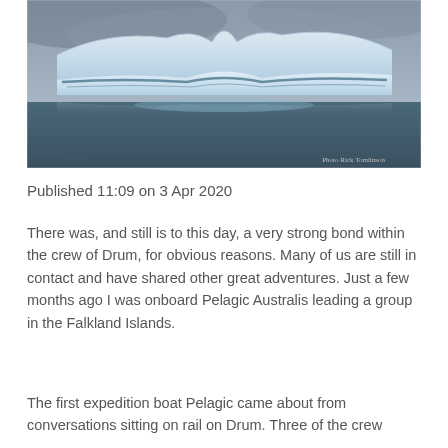[Figure (photo): Photograph of a large flat-topped iceberg with a distinctive wave-eroded depression in its centre, reflected in calm dark blue water under a stormy grey sky. Watermark reads 'Photo Rick Tomlinson' in the lower right corner.]
Published 11:09 on 3 Apr 2020
There was, and still is to this day, a very strong bond within the crew of Drum, for obvious reasons. Many of us are still in contact and have shared other great adventures. Just a few months ago I was onboard Pelagic Australis leading a group in the Falkland Islands.
The first expedition boat Pelagic came about from conversations sitting on rail on Drum. Three of the crew